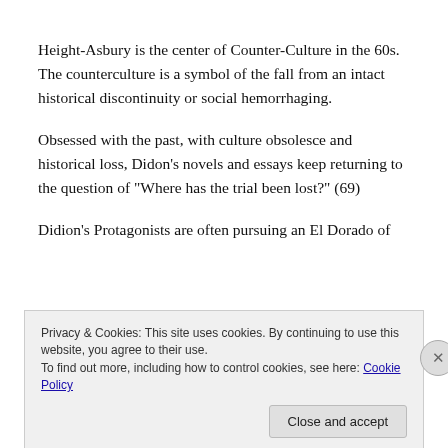Height-Asbury is the center of Counter-Culture in the 60s. The counterculture is a symbol of the fall from an intact historical discontinuity or social hemorrhaging.
Obsessed with the past, with culture obsolesce and historical loss, Didon's novels and essays keep returning to the question of "Where has the trial been lost?" (69)
Didion's Protagonists are often pursuing an El Dorado of
Privacy & Cookies: This site uses cookies. By continuing to use this website, you agree to their use.
To find out more, including how to control cookies, see here: Cookie Policy